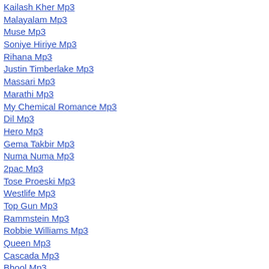Kailash Kher Mp3
Malayalam Mp3
Muse Mp3
Soniye Hiriye Mp3
Rihana Mp3
Justin Timberlake Mp3
Massari Mp3
Marathi Mp3
My Chemical Romance Mp3
Dil Mp3
Hero Mp3
Gema Takbir Mp3
Numa Numa Mp3
2pac Mp3
Tose Proeski Mp3
Westlife Mp3
Top Gun Mp3
Rammstein Mp3
Robbie Williams Mp3
Queen Mp3
Cascada Mp3
Bhool Mp3
About You Now Mp3
Music Mp3
Bryan Adams Mp3